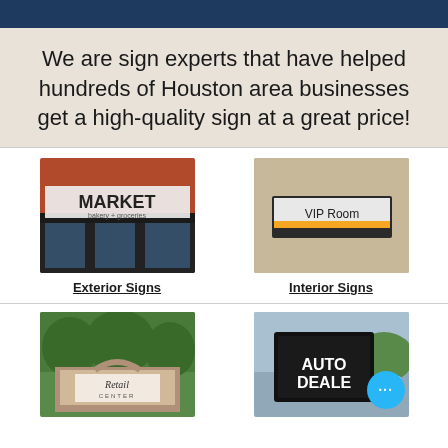We are sign experts that have helped hundreds of Houston area businesses get a high-quality sign at a great price!
[Figure (photo): Exterior storefront sign reading MARKET bakery + groceries on a brick building]
Exterior Signs
[Figure (photo): Interior wall-mounted sign reading VIP Room with gold accent stripe]
Interior Signs
[Figure (photo): Monument sign reading Retail Center with stone base surrounded by trees]
[Figure (photo): Auto dealer sign reading AUTO DEALER with a blue chat bubble icon overlay]